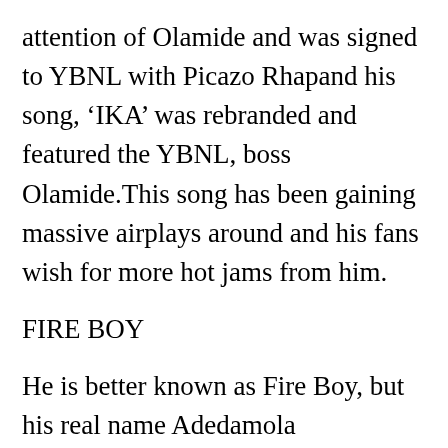attention of Olamide and was signed to YBNL with Picazo Rhapand his song, 'IKA' was rebranded and featured the YBNL, boss Olamide.This song has been gaining massive airplays around and his fans wish for more hot jams from him.
FIRE BOY
He is better known as Fire Boy, but his real name Adedamola Adefolahan.He hails from Abeokuta, Ogun State. He studied English Language in Obafemi Awolowo University, IIe Ife, where he was known for his love for music. His style of music is called